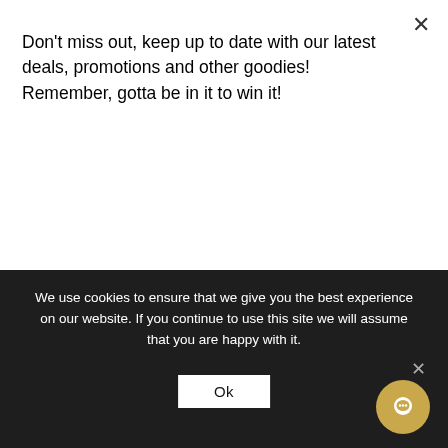Don't miss out, keep up to date with our latest deals, promotions and other goodies! Remember, gotta be in it to win it!
Subscribe
[Figure (other): Two grey placeholder content blocks side by side]
We use cookies to ensure that we give you the best experience on our website. If you continue to use this site we will assume that you are happy with it.
Ok